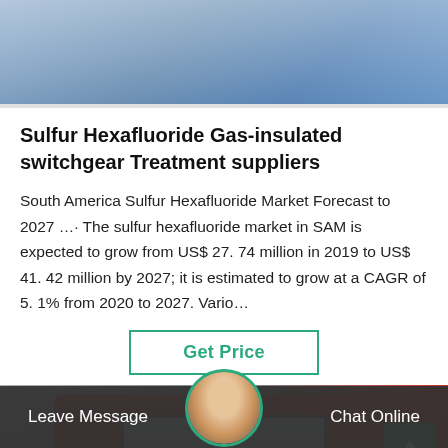[Figure (photo): Partial photo at top of page showing people, partially cropped]
Sulfur Hexafluoride Gas-insulated switchgear Treatment suppliers
South America Sulfur Hexafluoride Market Forecast to 2027 ... The sulfur hexafluoride market in SAM is expected to grow from US$ 27. 74 million in 2019 to US$ 41. 42 million by 2027; it is estimated to grow at a CAGR of 5. 1% from 2020 to 2027. Vario…
[Figure (photo): Product photo of a red industrial gas treatment device/machine]
Leave Message   Chat Online